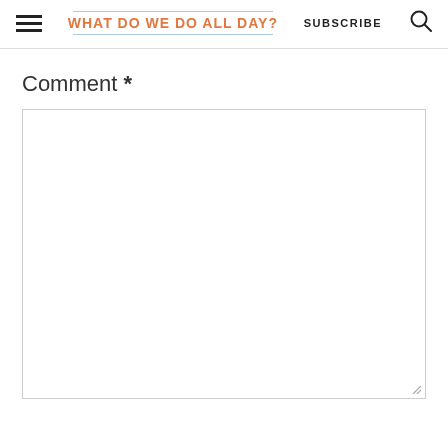WHAT DO WE DO ALL DAY? SUBSCRIBE
Comment *
[Figure (other): Empty comment text area input box with resize handle]